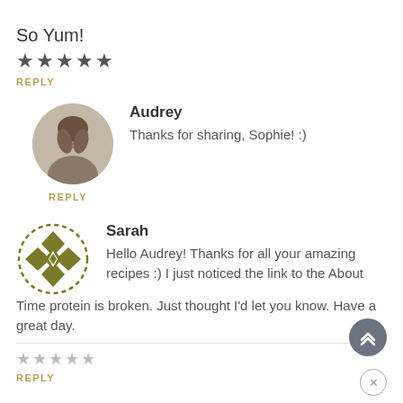So Yum!
★★★★★
REPLY
Audrey
Thanks for sharing, Sophie! :)
REPLY
Sarah
Hello Audrey! Thanks for all your amazing recipes :) I just noticed the link to the About Time protein is broken. Just thought I'd let you know. Have a great day.
★★★★★
REPLY